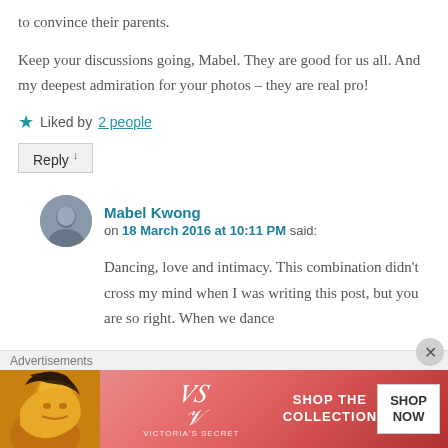to convince their parents.
Keep your discussions going, Mabel. They are good for us all. And my deepest admiration for your photos – they are real pro!
★ Liked by 2 people
Reply ↓
Mabel Kwong
on 18 March 2016 at 10:11 PM said:
Dancing, love and intimacy. This combination didn't cross my mind when I was writing this post, but you are so right. When we dance
Advertisements
[Figure (photo): Victoria's Secret advertisement banner with a woman's face on the left and the text SHOP THE COLLECTION with a SHOP NOW button]